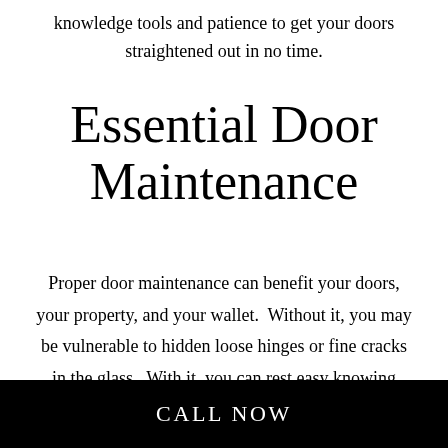knowledge tools and patience to get your doors straightened out in no time.
Essential Door Maintenance
Proper door maintenance can benefit your doors, your property, and your wallet.  Without it, you may be vulnerable to hidden loose hinges or fine cracks in the glass.  With it, you can rest easy knowing that your door is performing at its best, ensuring the utmost safety.
CALL NOW